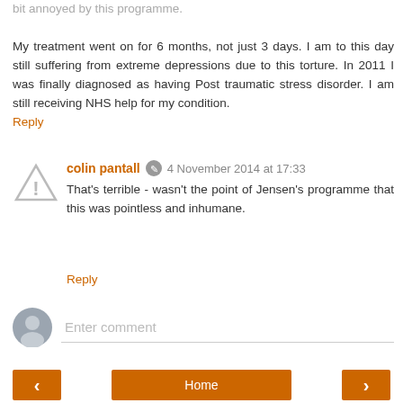bit annoyed by this programme. My treatment went on for 6 months, not just 3 days. I am to this day still suffering from extreme depressions due to this torture. In 2011 I was finally diagnosed as having Post traumatic stress disorder. I am still receiving NHS help for my condition.
Reply
colin pantall  4 November 2014 at 17:33
That's terrible - wasn't the point of Jensen's programme that this was pointless and inhumane.
Reply
Enter comment